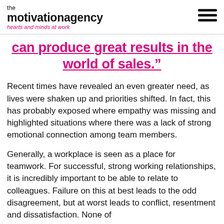the motivation agency — hearts and minds at work
can produce great results in the world of sales.”
Recent times have revealed an even greater need, as lives were shaken up and priorities shifted. In fact, this has probably exposed where empathy was missing and highlighted situations where there was a lack of strong emotional connection among team members.
Generally, a workplace is seen as a place for teamwork. For successful, strong working relationships, it is incredibly important to be able to relate to colleagues. Failure on this at best leads to the odd disagreement, but at worst leads to conflict, resentment and dissatisfaction. None of